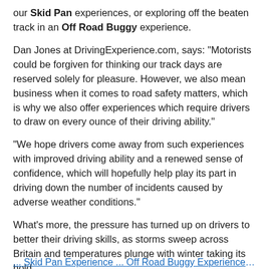our Skid Pan experiences, or exploring off the beaten track in an Off Road Buggy experience.
Dan Jones at DrivingExperience.com, says: "Motorists could be forgiven for thinking our track days are reserved solely for pleasure. However, we also mean business when it comes to road safety matters, which is why we also offer experiences which require drivers to draw on every ounce of their driving ability."
"We hope drivers come away from such experiences with improved driving ability and a renewed sense of confidence, which will hopefully help play its part in driving down the number of incidents caused by adverse weather conditions."
What's more, the pressure has turned up on drivers to better their driving skills, as storms sweep across Britain and temperatures plunge with winter taking its hold.
Dan adds: "The recent storms have caused havoc on the roads, and motorists should prepare for these to continue throughout the winter, making a driving experience a creative and fun way of helping drivers withstand the elements and stay on track into the New Year."
... Skid Pan Experience ... Off Road Buggy Experience ...